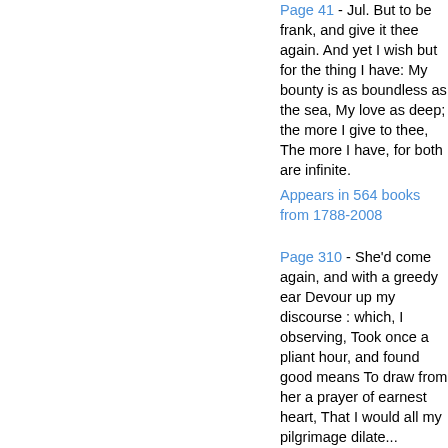Page 41 - Jul. But to be frank, and give it thee again. And yet I wish but for the thing I have: My bounty is as boundless as the sea, My love as deep; the more I give to thee, The more I have, for both are infinite. Appears in 564 books from 1788-2008
Page 310 - She'd come again, and with a greedy ear Devour up my discourse : which, I observing, Took once a pliant hour, and found good means To draw from her a prayer of earnest heart, That I would all my pilgrimage dilate...